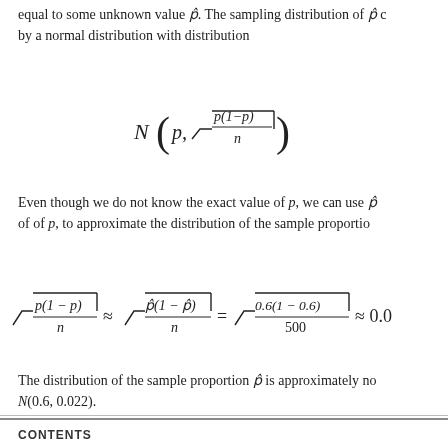equal to some unknown value p̂. The sampling distribution of p̂ can be approximated by a normal distribution with distribution
Even though we do not know the exact value of p, we can use p̂, our best estimate of of p, to approximate the distribution of the sample proportion:
The distribution of the sample proportion p̂ is approximately normal and can be written N(0.6, 0.022).
CONTENTS